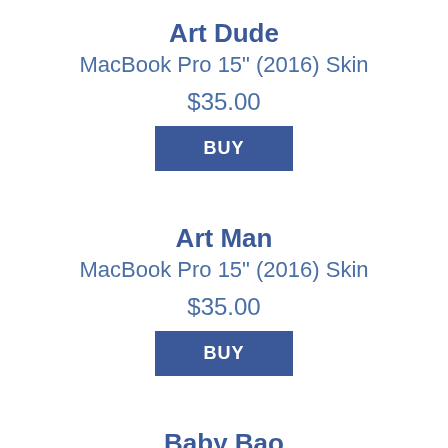Art Dude
MacBook Pro 15" (2016) Skin
$35.00
BUY
Art Man
MacBook Pro 15" (2016) Skin
$35.00
BUY
Baby Bao
MacBook Pro 15" (2016) Skin